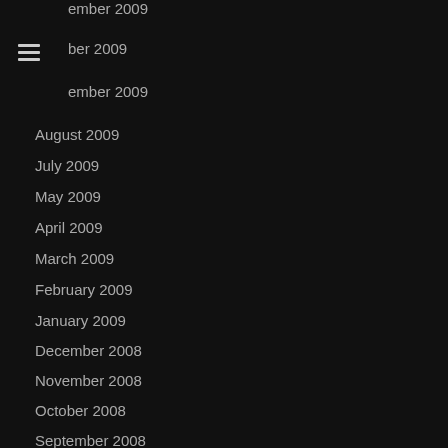…ember 2009
…ber 2009
…ember 2009
August 2009
July 2009
May 2009
April 2009
March 2009
February 2009
January 2009
December 2008
November 2008
October 2008
September 2008
August 2008
July 2008
June 2008
February 2008
January 2008
November 2007
October 2007
July 2007
June 2007